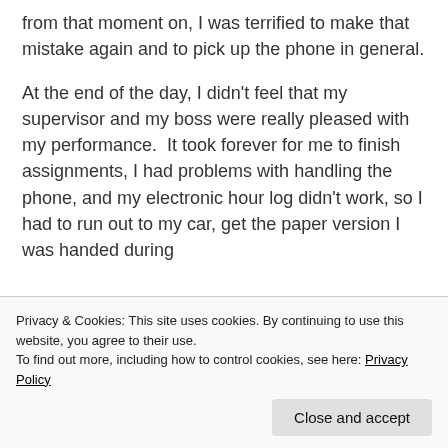from that moment on, I was terrified to make that mistake again and to pick up the phone in general.
At the end of the day, I didn't feel that my supervisor and my boss were really pleased with my performance.  It took forever for me to finish assignments, I had problems with handling the phone, and my electronic hour log didn't work, so I had to run out to my car, get the paper version I was handed during
Privacy & Cookies: This site uses cookies. By continuing to use this website, you agree to their use.
To find out more, including how to control cookies, see here: Privacy Policy
paper, but I was devastated.  I felt like a total